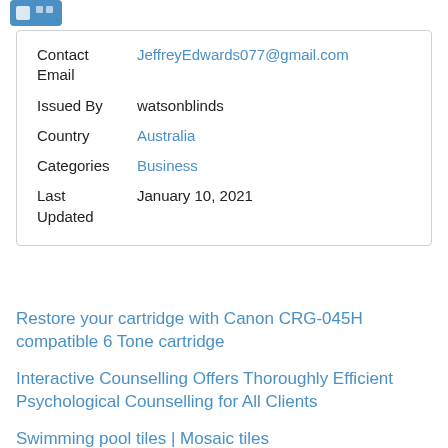[Figure (logo): Small blue logo icon in top left corner]
| Contact Email | JeffreyEdwards077@gmail.com |
| Issued By | watsonblinds |
| Country | Australia |
| Categories | Business |
| Last Updated | January 10, 2021 |
Restore your cartridge with Canon CRG-045H compatible 6 Tone cartridge
Interactive Counselling Offers Thoroughly Efficient Psychological Counselling for All Clients
Swimming pool tiles | Mosaic tiles
Buy marketing lists Marketing Lists Direct